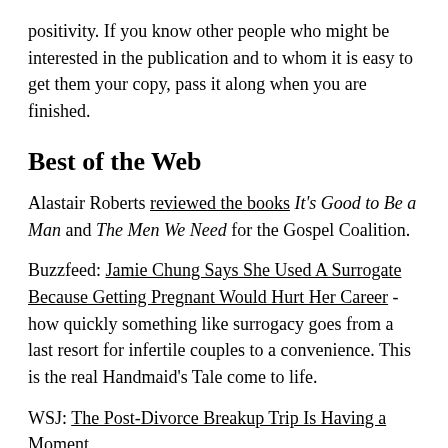positivity. If you know other people who might be interested in the publication and to whom it is easy to get them your copy, pass it along when you are finished.
Best of the Web
Alastair Roberts reviewed the books It's Good to Be a Man and The Men We Need for the Gospel Coalition.
Buzzfeed: Jamie Chung Says She Used A Surrogate Because Getting Pregnant Would Hurt Her Career - how quickly something like surrogacy goes from a last resort for infertile couples to a convenience. This is the real Handmaid's Tale come to life.
WSJ: The Post-Divorce Breakup Trip Is Having a Moment